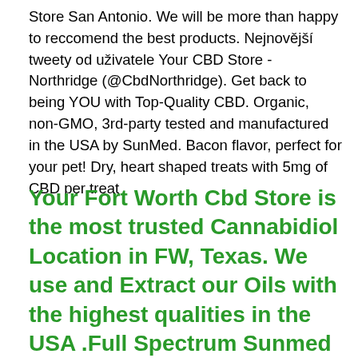Store San Antonio. We will be more than happy to reccomend the best products. Nejnovější tweety od uživatele Your CBD Store - Northridge (@CbdNorthridge). Get back to being YOU with Top-Quality CBD. Organic, non-GMO, 3rd-party tested and manufactured in the USA by SunMed. Bacon flavor, perfect for your pet! Dry, heart shaped treats with 5mg of CBD per treat
Your Fort Worth Cbd Store is the most trusted Cannabidiol Location in FW, Texas. We use and Extract our Oils with the highest qualities in the USA .Full Spectrum Sunmed CBD Oil - Your CBD Store / Ripon Naturalshttps://riponnaturals.com/cbd/full-spectrum-sunmed-cbd-oil3rd